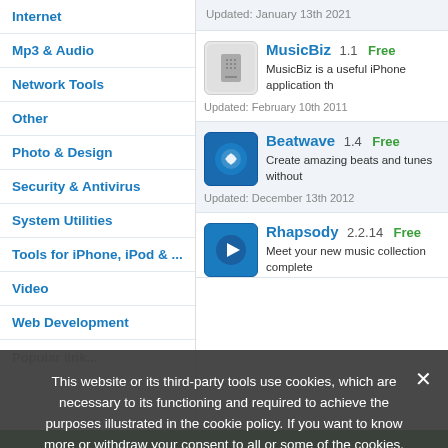Internet
Mp3 & Audio
Network Tools
Other
Photo & Design
Security & Antivirus
System Utilities
Tools for iPhone, iPod & ...
Video
Web Development
Updated: January 13th 2021
MusicBiz  1.1  Free
MusicBiz is a useful iPhone application th...
Updated: February 10th 2011
Beatwave  1.4  Free
Create amazing beats and tunes without...
Updated: December 13th 2012
Rhapsody  2.2.14  Free
Meet your new music collection complete...
This website or its third-party tools use cookies, which are necessary to its functioning and required to achieve the purposes illustrated in the cookie policy. If you want to know more or withdraw your consent to all or some of the cookies, please refer to the cookie policy. By closing this banner, clicking a link or continuing to browse otherwise, you agree to the use of cookies.